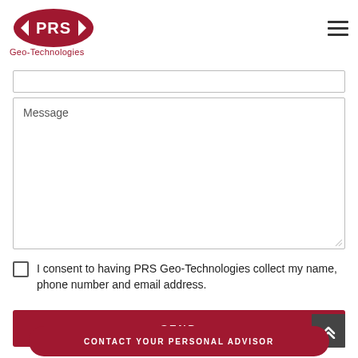[Figure (logo): PRS Geo-Technologies logo: red oval badge with white 'PRS' text and arrow design, followed by 'Geo-Technologies' text in red below]
Message
I consent to having PRS Geo-Technologies collect my name, phone number and email address.
SEND
CONTACT YOUR PERSONAL ADVISOR